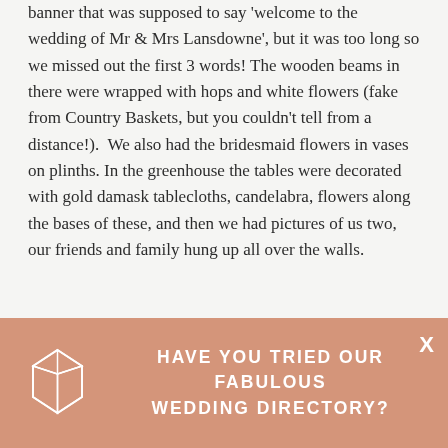banner that was supposed to say 'welcome to the wedding of Mr & Mrs Lansdowne', but it was too long so we missed out the first 3 words! The wooden beams in there were wrapped with hops and white flowers (fake from Country Baskets, but you couldn't tell from a distance!).  We also had the bridesmaid flowers in vases on plinths. In the greenhouse the tables were decorated with gold damask tablecloths, candelabra, flowers along the bases of these, and then we had pictures of us two, our friends and family hung up all over the walls.
Food
In the loggia for the reception we had platters of food from M&S – assorted sandwiches and finger food. For the wedding breakfast in the glasshouse our caterers were Smokey Mac. They provided each table with platters of pulled pork, beef
[Figure (logo): Geometric gem/crystal logo in white outline on salmon/terracotta background]
HAVE YOU TRIED OUR FABULOUS WEDDING DIRECTORY?